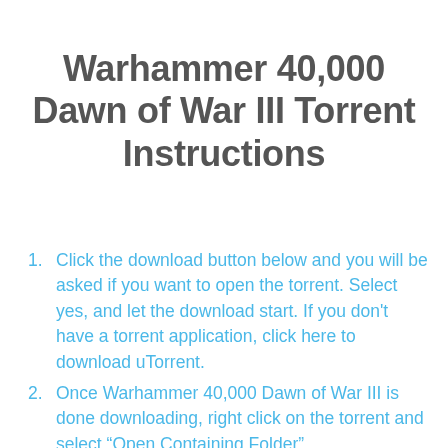Warhammer 40,000 Dawn of War III Torrent Instructions
Click the download button below and you will be asked if you want to open the torrent. Select yes, and let the download start. If you don't have a torrent application, click here to download uTorrent.
Once Warhammer 40,000 Dawn of War III is done downloading, right click on the torrent and select “Open Containing Folder”.
Double click inside the Warhammer 40,000 Dawn of War III folder and run the “setup” application.